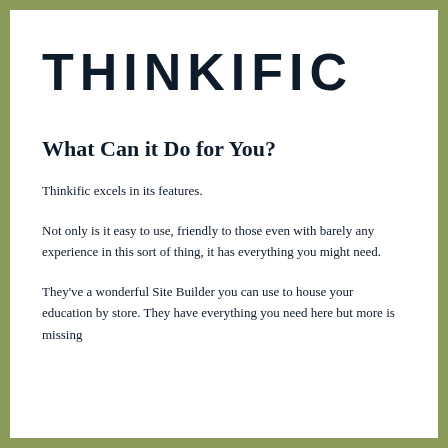[Figure (logo): THINKIFIC wordmark logo in large bold sans-serif uppercase letters]
What Can it Do for You?
Thinkific excels in its features.
Not only is it easy to use, friendly to those even with barely any experience in this sort of thing, it has everything you might need.
They've a wonderful Site Builder you can use to house your education bystore. They have everything you need here but more is missing